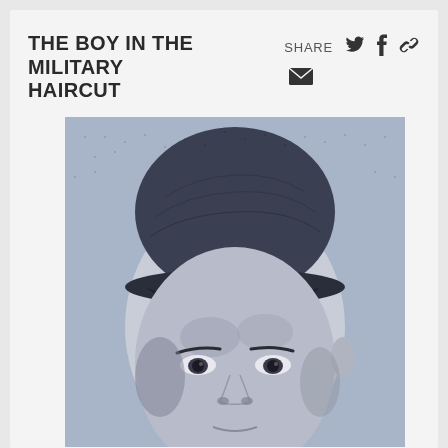THE BOY IN THE MILITARY HAIRCUT
SHARE
[Figure (photo): Black and white newspaper photograph of a young man wearing a military garrison cap, close-up portrait showing face and upper head]